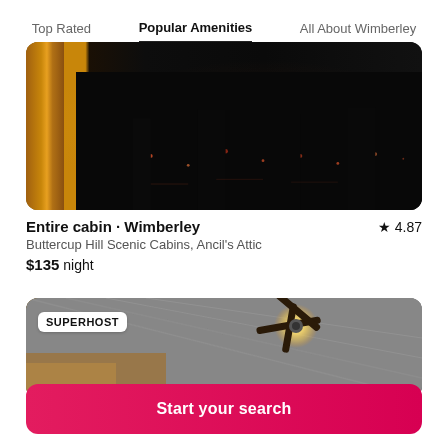Top Rated | Popular Amenities | All About Wimberley
[Figure (photo): Dark night exterior photo of a cabin with a wooden post on the left and dimly lit trees in background]
Entire cabin · Wimberley ★ 4.87
Buttercup Hill Scenic Cabins, Ancil's Attic
$135 night
[Figure (photo): Interior ceiling photo of a cabin showing a spinning ceiling fan with light, with SUPERHOST badge overlay]
Start your search